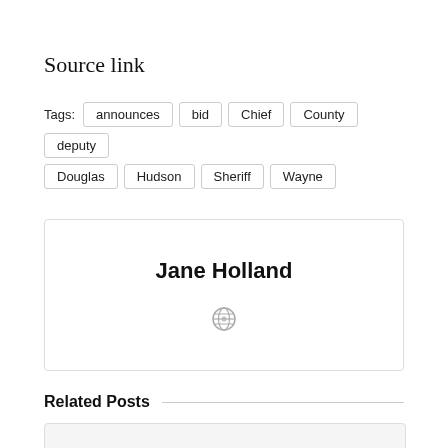Source link
Tags: announces bid Chief County deputy Douglas Hudson Sheriff Wayne
[Figure (other): Author bio box for Jane Holland with a globe icon]
Related Posts
[Figure (other): Related post card placeholder]